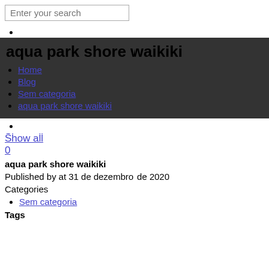Enter your search
aqua park shore waikiki
Home
Blog
Sem categoria
aqua park shore waikiki
Show all
0
aqua park shore waikiki
Published by at 31 de dezembro de 2020
Categories
Sem categoria
Tags